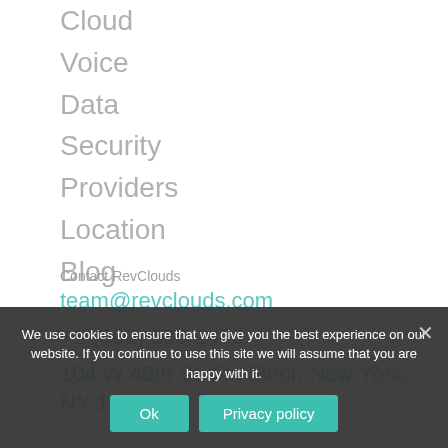Cloud
Voice
Data
Security
Providers
Location
Blog
Contact RevClouds
team@revclouds.com
+1-(800)-586-1475
104 W 40th St, 5th Floor, New York, NY 10018
We use cookies to ensure that we give you the best experience on our website. If you continue to use this site we will assume that you are happy with it.
Ok
Privacy policy